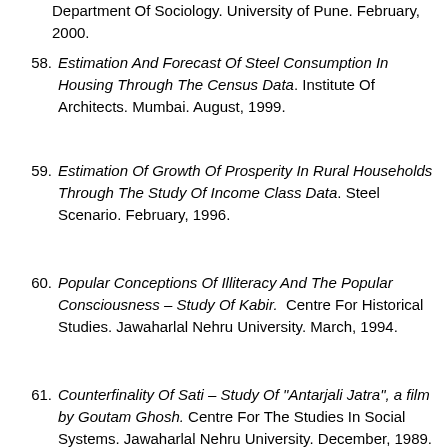Department Of Sociology. University of Pune. February, 2000.
58. Estimation And Forecast Of Steel Consumption In Housing Through The Census Data. Institute Of Architects. Mumbai. August, 1999.
59. Estimation Of Growth Of Prosperity In Rural Households Through The Study Of Income Class Data. Steel Scenario. February, 1996.
60. Popular Conceptions Of Illiteracy And The Popular Consciousness – Study Of Kabir. Centre For Historical Studies. Jawaharlal Nehru University. March, 1994.
61. Counterfinality Of Sati – Study Of "Antarjali Jatra", a film by Goutam Ghosh. Centre For The Studies In Social Systems. Jawaharlal Nehru University. December, 1989.
Web Publications: India Infoline, 2000-01.